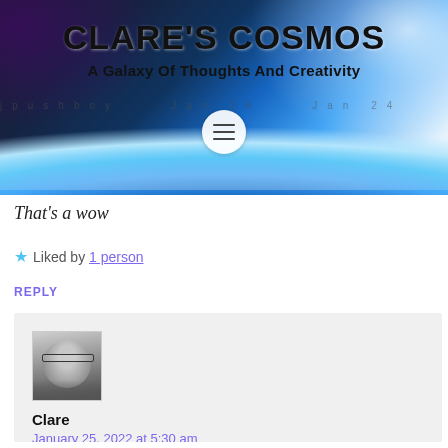[Figure (screenshot): Website header banner for Clare's Cosmos blog showing space/earth imagery with site title and subtitle]
CLARE'S COSMOS
A Galaxy Of Thoughts And Creativity
That's a wow
Liked by 1 person
REPLY
[Figure (photo): Black and white avatar photo of Clare]
Clare
January 25, 2022 at 5:30 am
It was horrible and not nice at all.